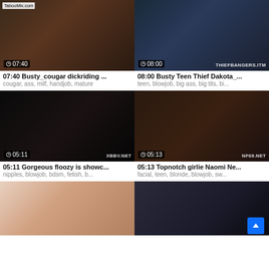[Figure (screenshot): Video thumbnail grid showing adult video website with 6 video cards in 2-column layout. Each card has a thumbnail image, duration badge, title and tags.]
07:40 Busty_cougar dickriding ...
cougar, ass, milf, handjob, mature
08:00 Busty Teen Thief Dakota_...
teen, blowjob, big ass, big tits, bi...
05:11 Gorgeous floozy is showc...
nipples, blowjob, bdsm, fetish, b...
05:13 Topnotch girlie Naomi Ne...
facial, teen, blonde, blowjob, sw...